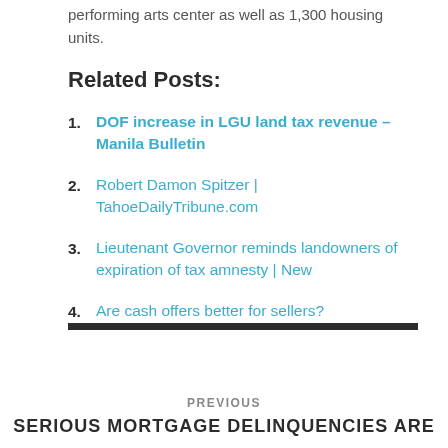performing arts center as well as 1,300 housing units.
Related Posts:
DOF increase in LGU land tax revenue – Manila Bulletin
Robert Damon Spitzer | TahoeDailyTribune.com
Lieutenant Governor reminds landowners of expiration of tax amnesty | New
Are cash offers better for sellers?
PREVIOUS
SERIOUS MORTGAGE DELINQUENCIES ARE